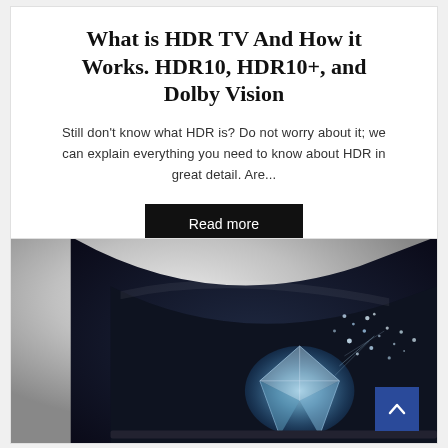What is HDR TV And How it Works. HDR10, HDR10+, and Dolby Vision
Still don't know what HDR is? Do not worry about it; we can explain everything you need to know about HDR in great detail. Are...
Read more
[Figure (photo): A high-contrast promotional image showing a curved TV screen with a diamond/crystal splash design against a dark background, with a light grey background visible behind the screen, including a blue scroll-to-top button overlay.]